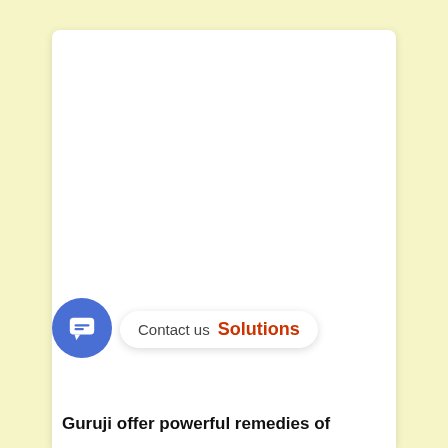[Figure (screenshot): White card/panel on a light yellow background showing a website screenshot. The lower portion shows a chat button (blue circle with message icon) and a 'Contact us' bubble with orange text reading 'Solutions'.]
Contact us  Solutions
Guruji offer powerful remedies of